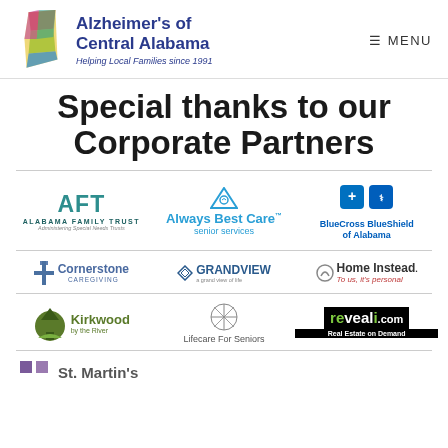Alzheimer's of Central Alabama — Helping Local Families since 1991 | MENU
Special thanks to our Corporate Partners
[Figure (logo): Row of corporate partner logos: Alabama Family Trust (AFT), Always Best Care senior services, BlueCross BlueShield of Alabama]
[Figure (logo): Row of corporate partner logos: Cornerstone Caregiving, GrandView Financial Group, Home Instead]
[Figure (logo): Row of corporate partner logos: Kirkwood by the River, Lifecare For Seniors, reveali.com Real Estate on Demand]
[Figure (logo): Partial row: St. Martin's (logo partially visible)]